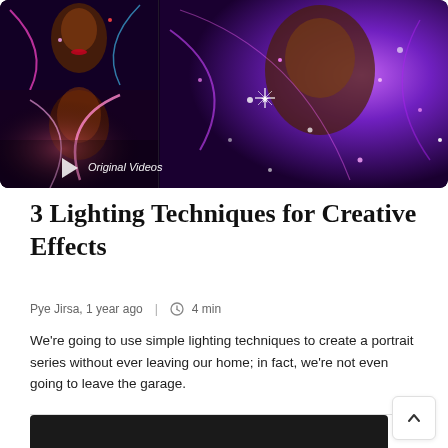[Figure (photo): A composite hero image showing creative portrait photography with purple bokeh light effects. Left side shows a smaller thumbnail with a woman and colorful swirling lights with a play button and 'Original Videos' label. Right side shows a larger portrait of a woman with dramatic purple sparkle and light effects.]
3 Lighting Techniques for Creative Effects
Pye Jirsa, 1 year ago  |  4 min
We're going to use simple lighting techniques to create a portrait series without ever leaving our home; in fact, we're not even going to leave the garage.
[Figure (photo): Bottom portion of a second image, dark background showing the start of another photograph, cropped at the page bottom.]